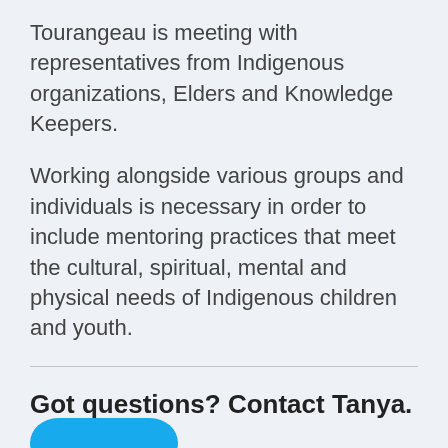Tourangeau is meeting with representatives from Indigenous organizations, Elders and Knowledge Keepers.
Working alongside various groups and individuals is necessary in order to include mentoring practices that meet the cultural, spiritual, mental and physical needs of Indigenous children and youth.
Got questions? Contact Tanya.
[Figure (other): Blue rounded button, partially visible at the bottom of the page]